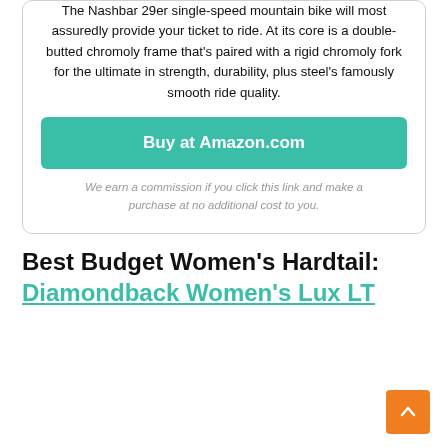The Nashbar 29er single-speed mountain bike will most assuredly provide your ticket to ride. At its core is a double-butted chromoly frame that's paired with a rigid chromoly fork for the ultimate in strength, durability, plus steel's famously smooth ride quality.
Buy at Amazon.com
We earn a commission if you click this link and make a purchase at no additional cost to you.
Best Budget Women's Hardtail: Diamondback Women's Lux LT